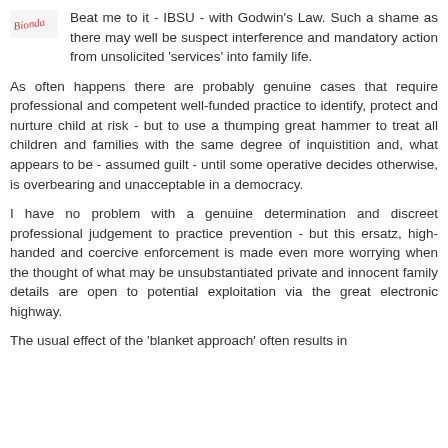Beat me to it - IBSU - with Godwin's Law. Such a shame as there may well be suspect interference and mandatory action from unsolicited 'services' into family life.
As often happens there are probably genuine cases that require professional and competent well-funded practice to identify, protect and nurture child at risk - but to use a thumping great hammer to treat all children and families with the same degree of inquistition and, what appears to be - assumed guilt - until some operative decides otherwise, is overbearing and unacceptable in a democracy.
I have no problem with a genuine determination and discreet professional judgement to practice prevention - but this ersatz, high-handed and coercive enforcement is made even more worrying when the thought of what may be unsubstantiated private and innocent family details are open to potential exploitation via the great electronic highway.
The usual effect of the 'blanket approach' often results in